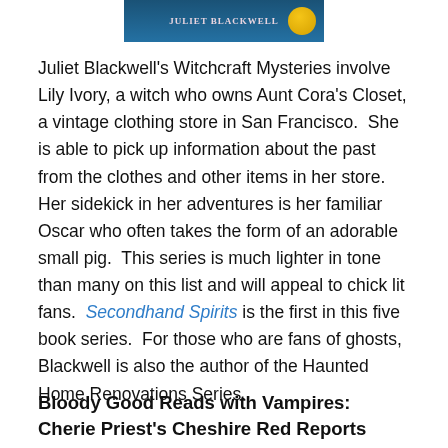[Figure (illustration): Top portion of a book cover by Juliet Blackwell with dark blue background and a gold coin/medallion visible on the right side]
Juliet Blackwell's Witchcraft Mysteries involve Lily Ivory, a witch who owns Aunt Cora's Closet, a vintage clothing store in San Francisco.  She is able to pick up information about the past from the clothes and other items in her store.  Her sidekick in her adventures is her familiar Oscar who often takes the form of an adorable small pig.  This series is much lighter in tone than many on this list and will appeal to chick lit fans.  Secondhand Spirits is the first in this five book series.  For those who are fans of ghosts, Blackwell is also the author of the Haunted Home Renovations Series.
Bloody Good Reads with Vampires: Cherie Priest's Cheshire Red Reports